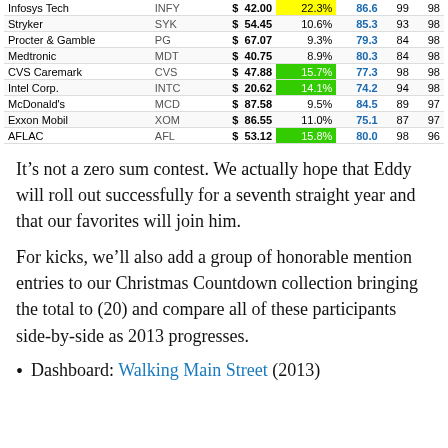|  |  | $ | % | Score |  |  |
| --- | --- | --- | --- | --- | --- | --- |
| Infosys Tech | INFY | $ 42.00 | 22.3% | 86.6 | 99 | 98 |
| Stryker | SYK | $ 54.45 | 10.6% | 85.3 | 93 | 98 |
| Procter & Gamble | PG | $ 67.07 | 9.3% | 79.3 | 84 | 98 |
| Medtronic | MDT | $ 40.75 | 8.9% | 80.3 | 84 | 98 |
| CVS Caremark | CVS | $ 47.88 | 15.7% | 77.3 | 98 | 98 |
| Intel Corp. | INTC | $ 20.62 | 14.1% | 74.2 | 94 | 98 |
| McDonald's | MCD | $ 87.58 | 9.5% | 84.5 | 89 | 97 |
| Exxon Mobil | XOM | $ 86.55 | 11.0% | 75.1 | 87 | 97 |
| AFLAC | AFL | $ 53.12 | 15.8% | 80.0 | 98 | 96 |
It’s not a zero sum contest. We actually hope that Eddy will roll out successfully for a seventh straight year and that our favorites will join him.
For kicks, we’ll also add a group of honorable mention entries to our Christmas Countdown collection bringing the total to (20) and compare all of these participants side-by-side as 2013 progresses.
Dashboard: Walking Main Street (2013)